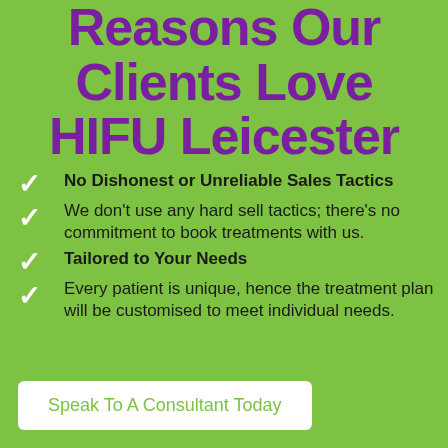Reasons Our Clients Love HIFU Leicester
No Dishonest or Unreliable Sales Tactics
We don't use any hard sell tactics; there's no commitment to book treatments with us.
Tailored to Your Needs
Every patient is unique, hence the treatment plan will be customised to meet individual needs.
Speak To A Consultant Today